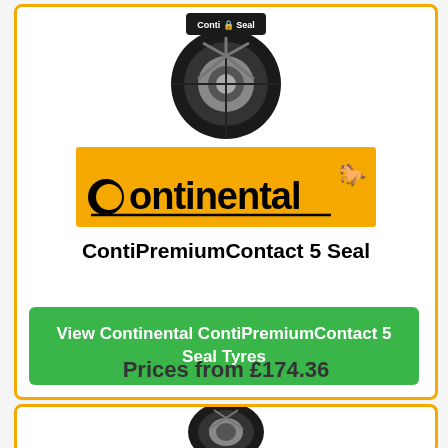[Figure (photo): Continental ContiSeal tyre product image with Conti Seal badge on top]
[Figure (logo): Continental brand logo - black text on orange/yellow background with horse silhouette]
ContiPremiumContact 5 Seal
View Continental ContiPremiumContact 5 Seal Tyres
Prices from £174.36
[Figure (photo): Second tyre product image partially visible at bottom of page]